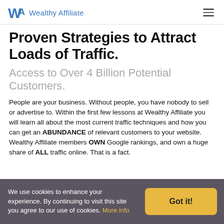Wealthy Affiliate
Proven Strategies to Attract Loads of Traffic.
Access to Over 4 Billion Potential Customers.
People are your business. Without people, you have nobody to sell or advertise to. Within the first few lessons at Wealthy Affiliate you will learn all about the most current traffic techniques and how you can get an ABUNDANCE of relevant customers to your website. Wealthy Affiliate members OWN Google rankings, and own a huge share of ALL traffic online. That is a fact.
We use cookies to enhance your experience. By continuing to visit this site you agree to our use of cookies. More info